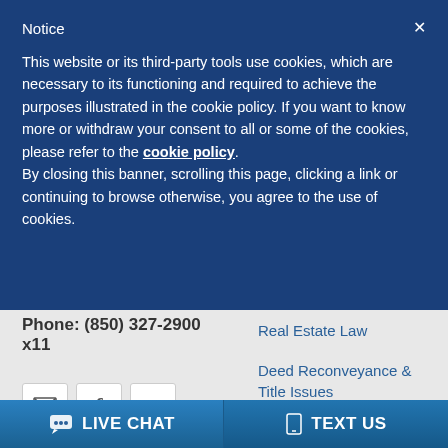Notice
This website or its third-party tools use cookies, which are necessary to its functioning and required to achieve the purposes illustrated in the cookie policy. If you want to know more or withdraw your consent to all or some of the cookies, please refer to the cookie policy.
By closing this banner, scrolling this page, clicking a link or continuing to browse otherwise, you agree to the use of cookies.
Phone: (850) 327-2900 x11
Real Estate Law
Deed Reconveyance & Title Issues
Partition Actions
LIVE CHAT   TEXT US